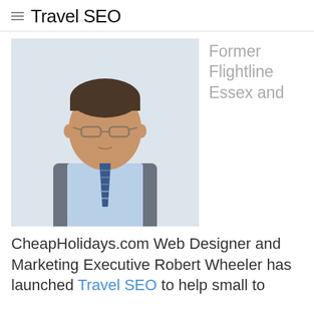Travel SEO
[Figure (photo): Portrait photo of a man wearing glasses, a light blue shirt, grey waistcoat, and a striped tie, standing against a white background.]
Former Flightline Essex and
CheapHolidays.com Web Designer and Marketing Executive Robert Wheeler has launched Travel SEO to help small to